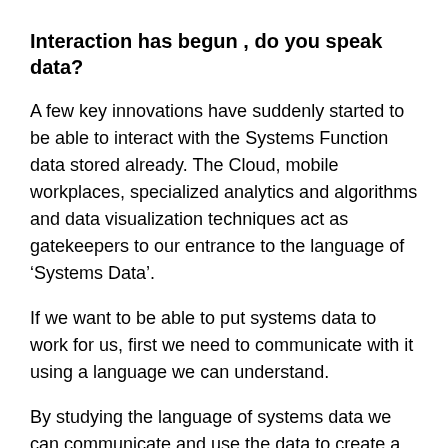Interaction has begun , do you speak data?
A few key innovations have suddenly started to be able to interact with the Systems Function data stored already. The Cloud, mobile workplaces, specialized analytics and algorithms and data visualization techniques act as gatekeepers to our entrance to the language of ‘Systems Data’.
If we want to be able to put systems data to work for us, first we need to communicate with it using a language we can understand.
By studying the language of systems data we can communicate and use the data to create a more effective and informed decision-making process and, ultimately, higher quality, lower cost legal services. All legal .